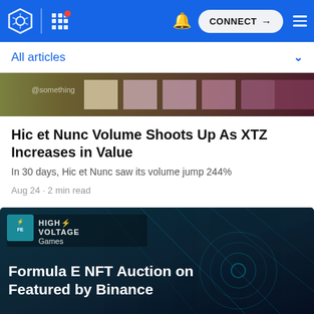CONNECT
All articles
[Figure (photo): Partially visible article thumbnail image with dark reddish-purple color swatches]
Hic et Nunc Volume Shoots Up As XTZ Increases in Value
In 30 days, Hic et Nunc saw its volume jump 244%
Aug 24 · 2 min read
[Figure (photo): Formula E High Voltage Games article thumbnail with teal/dark tech background. Badge shows HIGH VOLTAGE Games logo. Title text: Formula E NFT Auction on Featured by Binance]